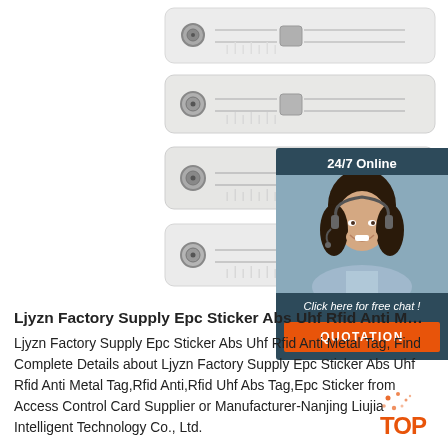[Figure (photo): Four white RFID anti-metal tag strips arranged horizontally, each with a metal eyelet on the left and a chip in the center, with embossed pattern texture on white PVC material]
[Figure (screenshot): 24/7 Online chat widget with dark teal background showing a smiling woman with headset, text 'Click here for free chat!' and orange QUOTATION button]
Ljyzn Factory Supply Epc Sticker Abs Uhf Rfid Anti M...
Ljyzn Factory Supply Epc Sticker Abs Uhf Rfid Anti Metal Tag, Find Complete Details about Ljyzn Factory Supply Epc Sticker Abs Uhf Rfid Anti Metal Tag,Rfid Anti,Rfid Uhf Abs Tag,Epc Sticker from Access Control Card Supplier or Manufacturer-Nanjing Liujia Intelligent Technology Co., Ltd.